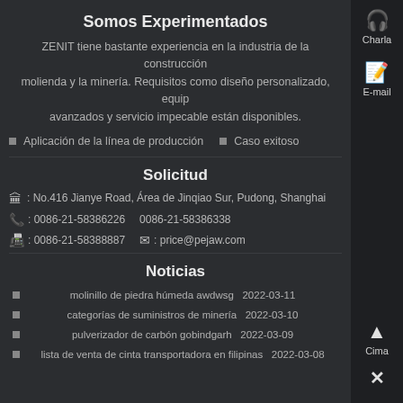Somos Experimentados
ZENIT tiene bastante experiencia en la industria de la construcción molienda y la minería. Requisitos como diseño personalizado, equip avanzados y servicio impecable están disponibles.
Aplicación de la línea de producción
Caso exitoso
Solicitud
: No.416 Jianye Road, Área de Jinqiao Sur, Pudong, Shanghai
: 0086-21-58386226   0086-21-58386338
: 0086-21-58388887   : price@pejaw.com
Noticias
molinillo de piedra húmeda awdwsg  2022-03-11
categorías de suministros de minería  2022-03-10
pulverizador de carbón gobindgarh  2022-03-09
lista de venta de cinta transportadora en filipinas  2022-03-08